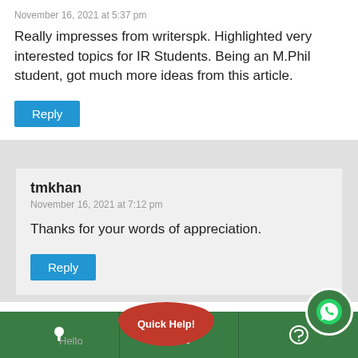November 16, 2021 at 5:37 pm
Really impresses from writerspk. Highlighted very interested topics for IR Students. Being an M.Phil student, got much more ideas from this article.
Reply
tmkhan
November 16, 2021 at 7:12 pm
Thanks for your words of appreciation.
Reply
pratap
November 24, 2021
Quick Help!
Hello